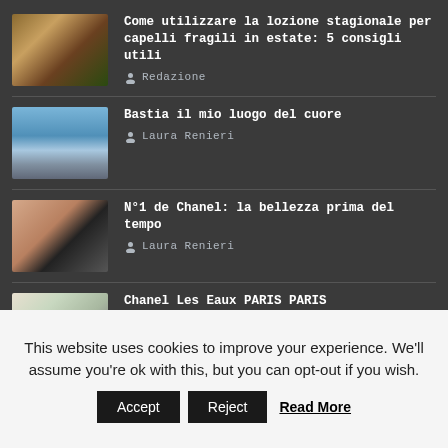Come utilizzare la lozione stagionale per capelli fragili in estate: 5 consigli utili — Redazione
Bastia il mio luogo del cuore — Laura Renieri
N°1 de Chanel: la bellezza prima del tempo — Laura Renieri
Chanel Les Eaux PARIS PARIS — Laura Renieri
This website uses cookies to improve your experience. We'll assume you're ok with this, but you can opt-out if you wish.